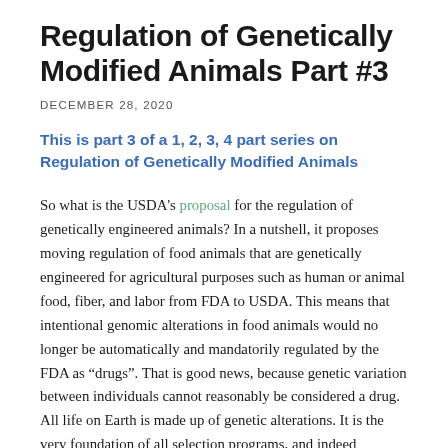Regulation of Genetically Modified Animals Part #3
DECEMBER 28, 2020
This is part 3 of a 1, 2, 3, 4 part series on Regulation of Genetically Modified Animals
So what is the USDA's proposal for the regulation of genetically engineered animals? In a nutshell, it proposes moving regulation of food animals that are genetically engineered for agricultural purposes such as human or animal food, fiber, and labor from FDA to USDA. This means that intentional genomic alterations in food animals would no longer be automatically and mandatorily regulated by the FDA as “drugs”. That is good news, because genetic variation between individuals cannot reasonably be considered a drug. All life on Earth is made up of genetic alterations. It is the very foundation of all selection programs, and indeed